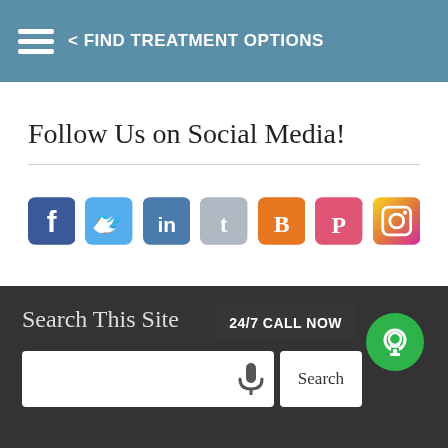< FIND TREATMENT OPTIONS
Follow Us on Social Media!
[Figure (illustration): Row of social media icons: Facebook (blue), Twitter (light blue), LinkedIn (blue), Tumblr (gray), Blogger (orange), Pinterest (red/pink), Instagram (gradient)]
Search This Site
24/7 CALL NOW
Search